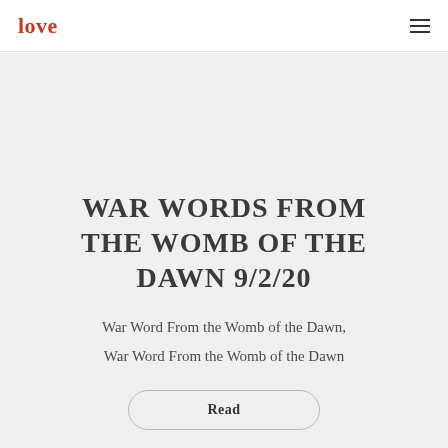love
WAR WORDS FROM THE WOMB OF THE DAWN 9/2/20
War Word From the Womb of the Dawn,
War Word From the Womb of the Dawn
Read